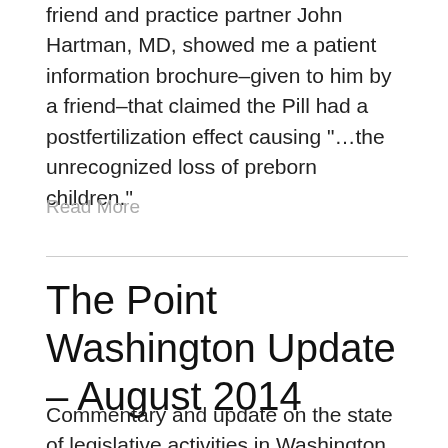friend and practice partner John Hartman, MD, showed me a patient information brochure–given to him by a friend–that claimed the Pill had a postfertilization effect causing "…the unrecognized loss of preborn children."
Read More
The Point Washington Update – August 2014
Commentary and update on the state of legislative activities in Washington involving CMDA member interests. In this edition: